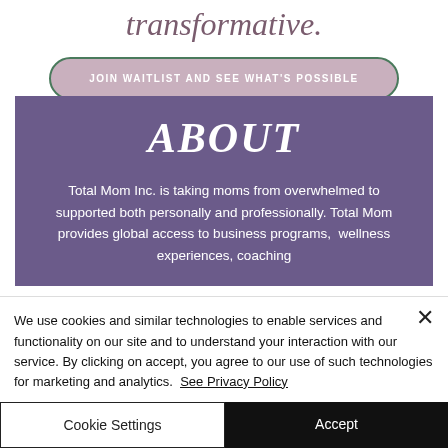transformative.
JOIN WAITLIST AND SEE WHAT'S POSSIBLE
ABOUT
Total Mom Inc. is taking moms from overwhelmed to supported both personally and professionally. Total Mom provides global access to business programs,  wellness experiences, coaching
We use cookies and similar technologies to enable services and functionality on our site and to understand your interaction with our service. By clicking on accept, you agree to our use of such technologies for marketing and analytics.  See Privacy Policy
Cookie Settings
Accept